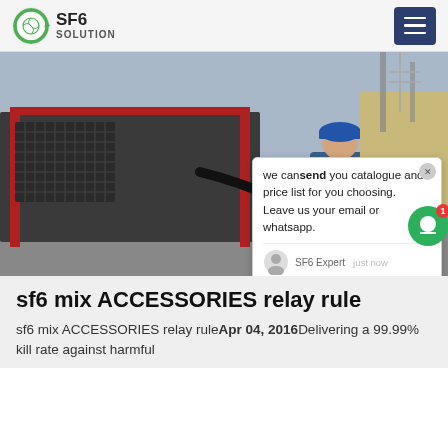SF6 SOLUTION
[Figure (photo): A worker in blue coveralls and blue hard hat crouching near industrial SF6 gas handling equipment on a truck/trailer. A chat popup overlay is visible in the top-right of the image with text: 'we can send you catalogue and price list for you choosing. Leave us your email or whatsapp.' SF6 Expert, just now. Watermark reads SF6China.]
sf6 mix ACCESSORIES relay rule
sf6 mix ACCESSORIES relay ruleApr 04, 2016Delivering a 99.99% kill rate against harmful